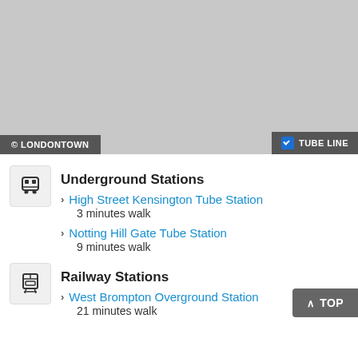[Figure (map): Gray map area placeholder with dark overlays]
© LONDONTOWN
✓ TUBE LINE
Underground Stations
High Street Kensington Tube Station
3 minutes walk
Notting Hill Gate Tube Station
9 minutes walk
Railway Stations
West Brompton Overground Station
21 minutes walk